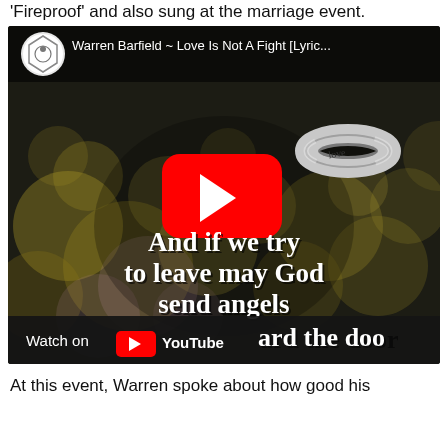'Fireproof' and also sung at the marriage event.
[Figure (screenshot): YouTube video thumbnail/embed for 'Warren Barfield ~ Love Is Not A Fight [Lyric...]' showing a blurred bokeh background with a wedding ring, a YouTube play button, and lyrics text: 'And if we try to leave may God send angels guard the door'. Bottom bar shows 'Watch on YouTube'.]
At this event, Warren spoke about how good his